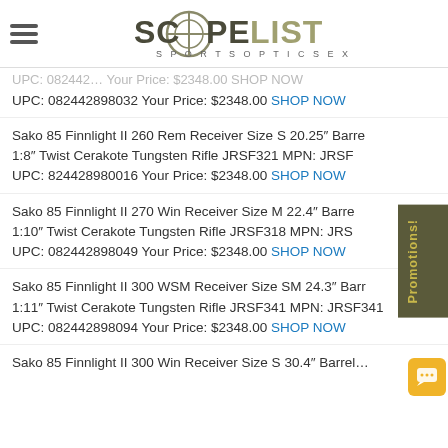SCOPELIST - Sports Optics Experts
UPC: 082442898032 Your Price: $2348.00 SHOP NOW
Sako 85 Finnlight II 260 Rem Receiver Size S 20.25" Barrel 1:8" Twist Cerakote Tungsten Rifle JRSF321 MPN: JRSF321 UPC: 824428980016 Your Price: $2348.00 SHOP NOW
Sako 85 Finnlight II 270 Win Receiver Size M 22.4" Barrel 1:10" Twist Cerakote Tungsten Rifle JRSF318 MPN: JRSF318 UPC: 082442898049 Your Price: $2348.00 SHOP NOW
Sako 85 Finnlight II 300 WSM Receiver Size SM 24.3" Barrel 1:11" Twist Cerakote Tungsten Rifle JRSF341 MPN: JRSF341 UPC: 082442898094 Your Price: $2348.00 SHOP NOW
Sako 85 Finnlight II 300 Win Receiver Size S 30.4" Barrel...